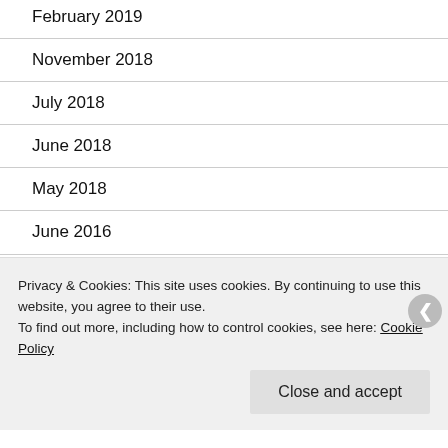February 2019
November 2018
July 2018
June 2018
May 2018
June 2016
May 2016
April 2016
Privacy & Cookies: This site uses cookies. By continuing to use this website, you agree to their use.
To find out more, including how to control cookies, see here: Cookie Policy
Close and accept